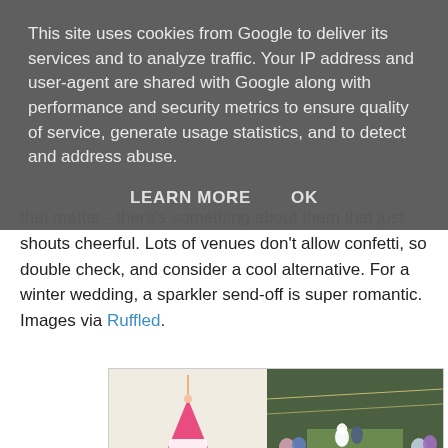This site uses cookies from Google to deliver its services and to analyze traffic. Your IP address and user-agent are shared with Google along with performance and security metrics to ensure quality of service, generate usage statistics, and to detect and address abuse.
LEARN MORE    OK
that matter - there's something about them that just shouts cheerful. Lots of venues don't allow confetti, so double check, and consider a cool alternative. For a winter wedding, a sparkler send-off is super romantic. Images via Ruffled.
[Figure (photo): Two side-by-side photos: left shows a pink paper cone filled with colorful pom-poms on a white surface; right shows a wedding ceremony aisle with guests and floral confetti on grass.]